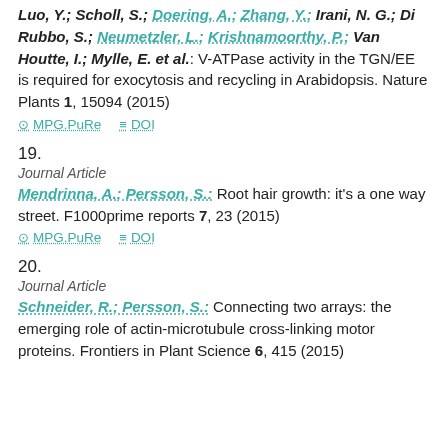Luo, Y.; Scholl, S.; Doering, A.; Zhang, Y.; Irani, N. G.; Di Rubbo, S.; Neumetzler, L.; Krishnamoorthy, P.; Van Houtte, I.; Mylle, E. et al.: V-ATPase activity in the TGN/EE is required for exocytosis and recycling in Arabidopsis. Nature Plants 1, 15094 (2015)
MPG.PuRe   DOI
19.
Journal Article
Mendrinna, A.; Persson, S.: Root hair growth: it's a one way street. F1000prime reports 7, 23 (2015)
MPG.PuRe   DOI
20.
Journal Article
Schneider, R.; Persson, S.: Connecting two arrays: the emerging role of actin-microtubule cross-linking motor proteins. Frontiers in Plant Science 6, 415 (2015)